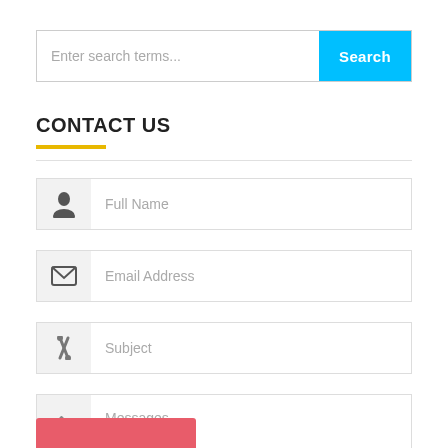Enter search terms...
Search
CONTACT US
Full Name
Email Address
Subject
Messages